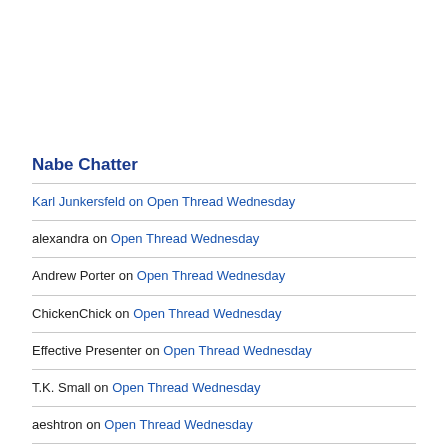Nabe Chatter
Karl Junkersfeld on Open Thread Wednesday
alexandra on Open Thread Wednesday
Andrew Porter on Open Thread Wednesday
ChickenChick on Open Thread Wednesday
Effective Presenter on Open Thread Wednesday
T.K. Small on Open Thread Wednesday
aeshtron on Open Thread Wednesday
RW on Open Thread Wednesday